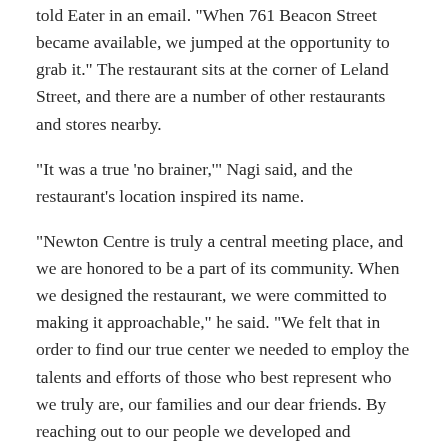told Eater in an email. "When 761 Beacon Street became available, we jumped at the opportunity to grab it." The restaurant sits at the corner of Leland Street, and there are a number of other restaurants and stores nearby.
"It was a true ‘no brainer,’" Nagi said, and the restaurant’s location inspired its name.
"Newton Centre is truly a central meeting place, and we are honored to be a part of its community. When we designed the restaurant, we were committed to making it approachable," he said. "We felt that in order to find our true center we needed to employ the talents and efforts of those who best represent who we truly are, our families and our dear friends. By reaching out to our people we developed and ultimately found our center, and the name Central was born."
T...